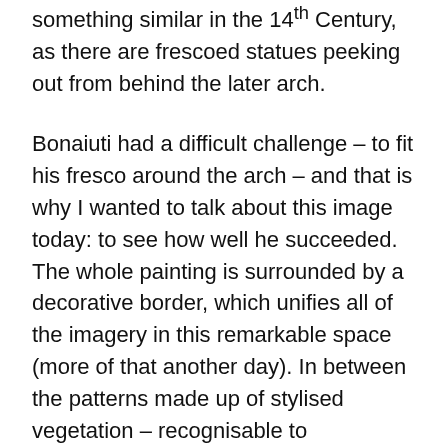something similar in the 14  Century, as there are frescoed statues peeking out from behind the later arch.
Bonaiuti had a difficult challenge – to fit his fresco around the arch – and that is why I wanted to talk about this image today: to see how well he succeeded. The whole painting is surrounded by a decorative border, which unifies all of the imagery in this remarkable space (more of that another day). In between the patterns made up of stylised vegetation – recognisable to contemporary tourists from the Florentine 'handmade' paper available from shops on almost every street – we see prophets emerging holding scrolls, foretelling the coming of the Messiah and his inevitable